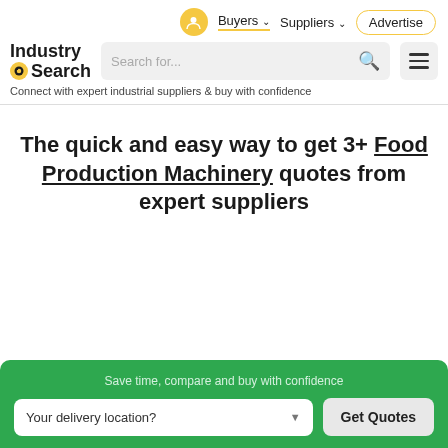Buyers  Suppliers  Advertise
[Figure (logo): IndustrySearch logo with yellow eye icon]
Connect with expert industrial suppliers & buy with confidence
The quick and easy way to get 3+ Food Production Machinery quotes from expert suppliers
Save time, compare and buy with confidence
Your delivery location?  Get Quotes